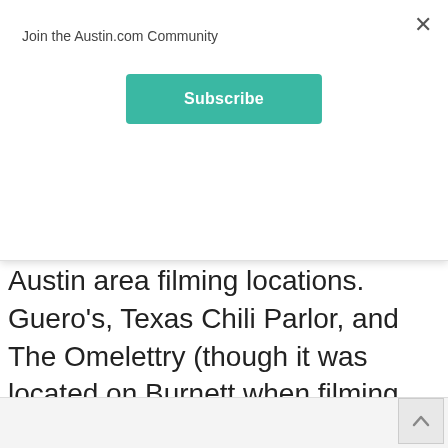Join the Austin.com Community
Subscribe
Austin area filming locations. Guero's, Texas Chili Parlor, and The Omelettry (though it was located on Burnett when filming took place).